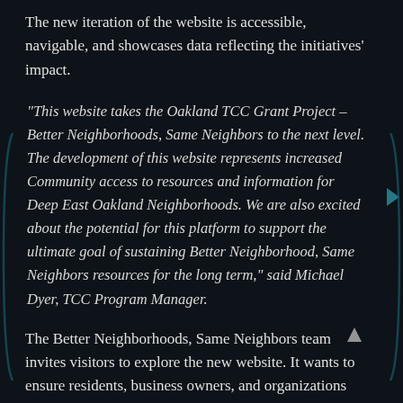The new iteration of the website is accessible, navigable, and showcases data reflecting the initiatives' impact.
“This website takes the Oakland TCC Grant Project – Better Neighborhoods, Same Neighbors to the next level. The development of this website represents increased Community access to resources and information for Deep East Oakland Neighborhoods. We are also excited about the potential for this platform to support the ultimate goal of sustaining Better Neighborhood, Same Neighbors resources for the long term,” said Michael Dyer, TCC Program Manager.
The Better Neighborhoods, Same Neighbors team invites visitors to explore the new website. It wants to ensure residents, business owners, and organizations are aware of the Better Neighborhoods, Same Neighbors Resource Center and can contact it via the website for career,